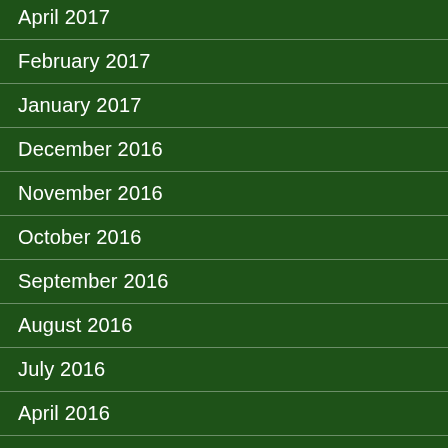April 2017
February 2017
January 2017
December 2016
November 2016
October 2016
September 2016
August 2016
July 2016
April 2016
March 2016
February 2016
January 2016